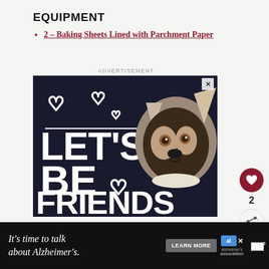EQUIPMENT
2 – Baking Sheets Lined with Parchment Paper
[Figure (photo): Advertisement banner showing a Siberian Husky dog with hearts and text 'LET'S BE FRIENDS' on a dark background]
[Figure (photo): WHAT'S NEXT panel showing Pumpkin Cupcakes wi...]
[Figure (photo): Bottom banner advertisement: It's time to talk about Alzheimer's. Learn More. Alzheimer's Association logo.]